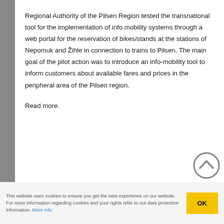Regional Authority of the Pilsen Region tested the transnational tool for the implementation of info mobility systems through a web portal for the reservation of bikes/stands at the stations of Nepomuk and Žihle in connection to trains to Pilsen. The main goal of the pilot action was to introduce an info-mobility tool to inform customers about available fares and prices in the peripheral area of the Pilsen region.
Read more.
This website uses cookies to ensure you get the best experience on our website. For more information regarding cookies and your rights refer to our data protection information. More info